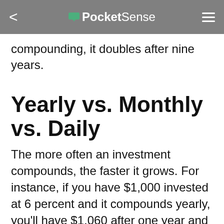PocketSense
compounding, it doubles after nine years.
Yearly vs. Monthly vs. Daily
The more often an investment compounds, the faster it grows. For instance, if you have $1,000 invested at 6 percent and it compounds yearly, you'll have $1,060 after one year and $1,123.60 after two. If it compounds monthly, you get .5 percent interest each month. After the first month